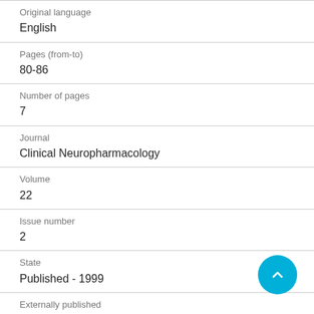Original language
English
Pages (from-to)
80-86
Number of pages
7
Journal
Clinical Neuropharmacology
Volume
22
Issue number
2
State
Published - 1999
Externally published
Yes